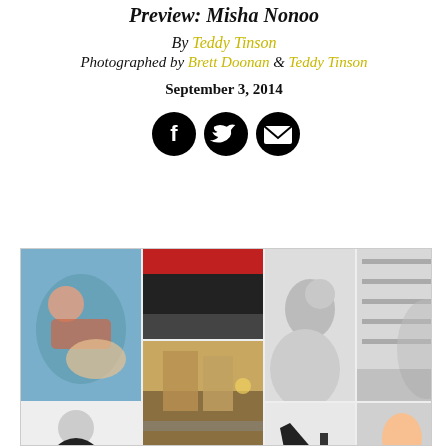Preview: Misha Nonoo
By Teddy Tinson
Photographed by Brett Doonan & Teddy Tinson
September 3, 2014
[Figure (illustration): Social media share icons: Facebook, Twitter, Email]
[Figure (photo): Collage of fashion and lifestyle photos including swimmers, street scenes, architecture, fashion shots, and colorful artwork]